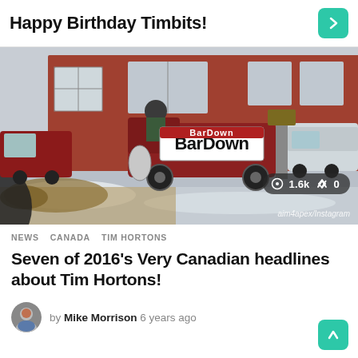Happy Birthday Timbits!
[Figure (photo): A Zamboni-style ice resurfacing machine with a 'BarDown' banner on it, parked outside what appears to be a Tim Hortons or similar brick building in winter. Snow on the ground, a vehicle visible to the right.]
1.6k  0
aim4apex/Instagram
NEWS  CANADA  TIM HORTONS
Seven of 2016's Very Canadian headlines about Tim Hortons!
by Mike Morrison 6 years ago